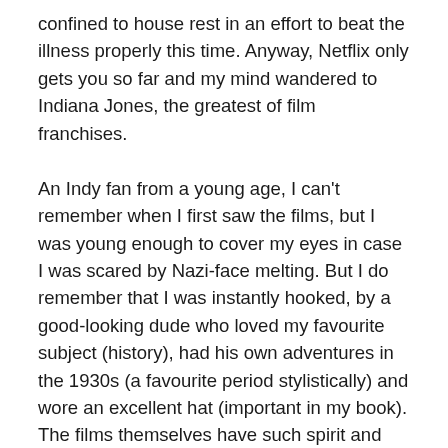confined to house rest in an effort to beat the illness properly this time. Anyway, Netflix only gets you so far and my mind wandered to Indiana Jones, the greatest of film franchises.
An Indy fan from a young age, I can't remember when I first saw the films, but I was young enough to cover my eyes in case I was scared by Nazi-face melting. But I do remember that I was instantly hooked, by a good-looking dude who loved my favourite subject (history), had his own adventures in the 1930s (a favourite period stylistically) and wore an excellent hat (important in my book). The films themselves have such spirit and humour. They're so quotable, and are perfect examples of cinematic geniuses working at their peak. Frequently I play the music at work, as even admin seems epic when you've got the London Symphony Orchestra belting out